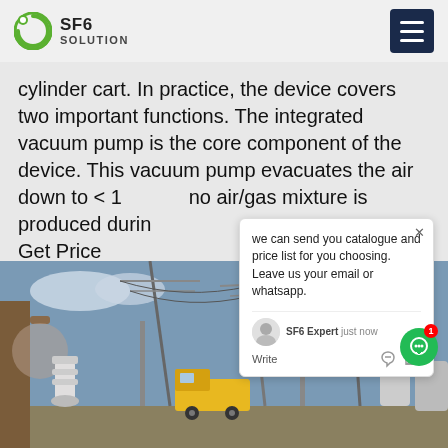SF6 SOLUTION
cylinder cart. In practice, the device covers two important functions. The integrated vacuum pump is the core component of the device. This vacuum pump evacuates the air down to < 1 no air/gas mixture is produced durin
Get Price
[Figure (photo): Electrical substation with high-voltage equipment, transmission towers, and a yellow service truck on site.]